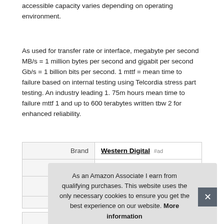accessible capacity varies depending on operating environment.
As used for transfer rate or interface, megabyte per second MB/s = 1 million bytes per second and gigabit per second Gb/s = 1 billion bits per second. 1 mttf = mean time to failure based on internal testing using Telcordia stress part testing. An industry leading 1. 75m hours mean time to failure mttf 1 and up to 600 terabytes written tbw 2 for enhanced reliability.
|  |  |
| --- | --- |
| Brand | Western Digital #ad |
| Manufacturer | Western Digital #ad |
As an Amazon Associate I earn from qualifying purchases. This website uses the only necessary cookies to ensure you get the best experience on our website. More information
|  |  |
| --- | --- |
| Width | 0.3 Inches |